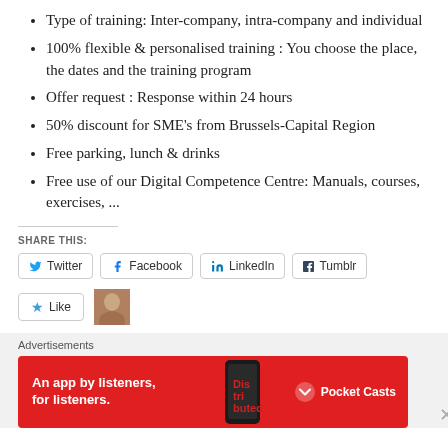Type of training: Inter-company, intra-company and individual
100% flexible & personalised training : You choose the place, the dates and the training program
Offer request : Response within 24 hours
50% discount for SME's from Brussels-Capital Region
Free parking, lunch & drinks
Free use of our Digital Competence Centre: Manuals, courses, exercises, ...
SHARE THIS:
Twitter  Facebook  LinkedIn  Tumblr
Like
Advertisements
[Figure (infographic): Pocket Casts advertisement banner: red background with phone image, text 'An app by listeners, for listeners.' and Pocket Casts logo]